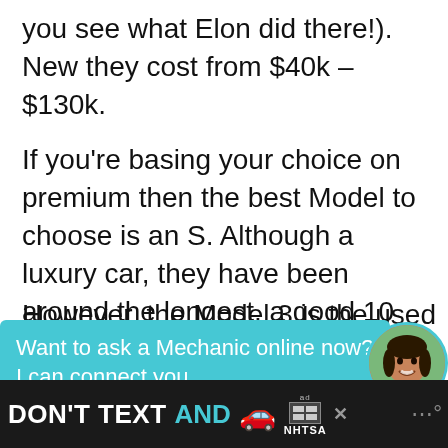you see what Elon did there!). New they cost from $40k – $130k.
If you're basing your choice on premium then the best Model to choose is an S. Although a luxury car, they have been around the longest, a good 10 years and there's good availability and many on offer have added extras.
However, the Model 3 is the used Tesla
[Figure (screenshot): Chat widget overlay with teal/cyan background reading 'Want to ask a Mechanic online now? I can connect you ...' with a circular avatar photo of a woman on the right side]
Range version. Unfortunately, there aren't too
[Figure (screenshot): Bottom advertisement banner: dark background with text 'DON'T TEXT AND' in white/cyan bold, a red car emoji, an 'ad' badge and NHTSA logo, and partially visible text on the right]